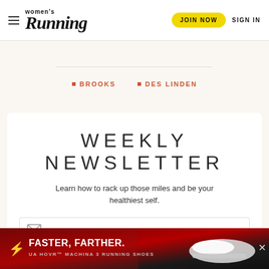Women's Running — JOIN NOW | SIGN IN
BROOKS
DES LINDEN
WEEKLY NEWSLETTER
Learn how to rack up those miles and be your healthiest self.
[Figure (infographic): Email input field with envelope icon]
[Figure (infographic): Under Armour advertisement banner: FASTER, FARTHER. UA HOVR MACHINA 3 RUNNING SHOES with shoe image]